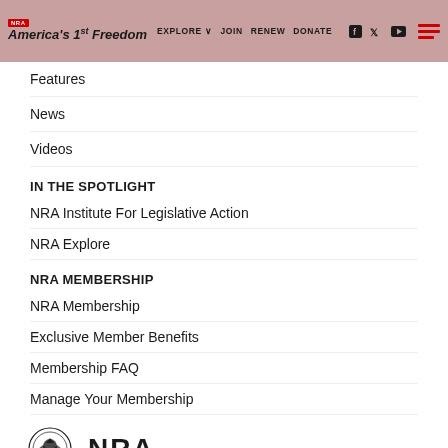NRA America's 1st Freedom | EXPLORE | JOIN | RENEW | DONATE
Features
News
Videos
IN THE SPOTLIGHT
NRA Institute For Legislative Action
NRA Explore
NRA MEMBERSHIP
NRA Membership
Exclusive Member Benefits
Membership FAQ
Manage Your Membership
[Figure (logo): NRA Member seal and NRA wordmark logos]